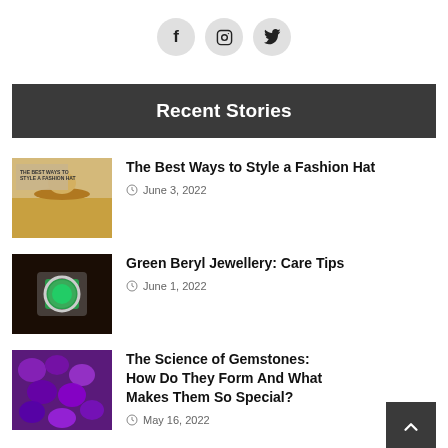[Figure (other): Social media icons: Facebook, Instagram, Twitter in circular grey buttons]
Recent Stories
[Figure (photo): Woman wearing a fashion hat in a field, with text overlay 'The Best Ways to Style a Fashion Hat']
The Best Ways to Style a Fashion Hat
June 3, 2022
[Figure (photo): Green beryl gemstone ring with diamond halo on dark background]
Green Beryl Jewellery: Care Tips
June 1, 2022
[Figure (photo): Purple amethyst gemstones clustered together]
The Science of Gemstones: How Do They Form And What Makes Them So Special?
May 16, 2022